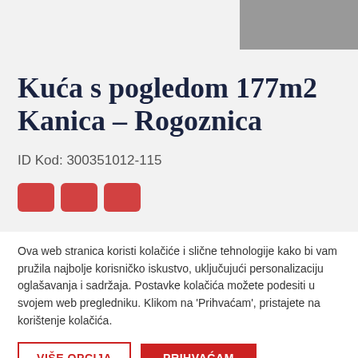[Figure (photo): Gray image placeholder in top right corner]
Kuća s pogledom 177m2 Kanica – Rogoznica
ID Kod: 300351012-115
[Figure (other): Three red icon buttons (share/bookmark/etc.)]
Ova web stranica koristi kolačiće i slične tehnologije kako bi vam pružila najbolje korisničko iskustvo, uključujući personalizaciju oglašavanja i sadržaja. Postavke kolačića možete podesiti u svojem web pregledniku. Klikom na 'Prihvaćam', pristajete na korištenje kolačića.
VIŠE OPCIJA | PRIHVAĆAM